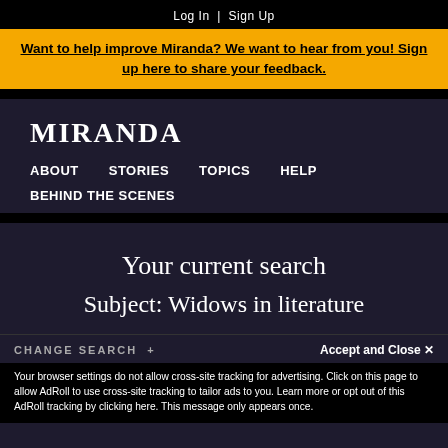Log In  |  Sign Up
Want to help improve Miranda? We want to hear from you! Sign up here to share your feedback.
MIRANDA
ABOUT
STORIES
TOPICS
HELP
BEHIND THE SCENES
Your current search
Subject: Widows in literature
CHANGE SEARCH +
Accept and Close ✕
Your browser settings do not allow cross-site tracking for advertising. Click on this page to allow AdRoll to use cross-site tracking to tailor ads to you. Learn more or opt out of this AdRoll tracking by clicking here. This message only appears once.